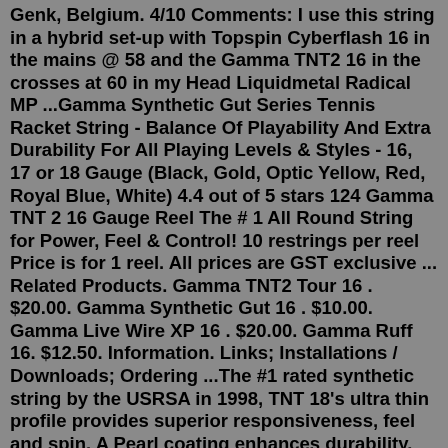Genk, Belgium. 4/10 Comments: I use this string in a hybrid set-up with Topspin Cyberflash 16 in the mains @ 58 and the Gamma TNT2 16 in the crosses at 60 in my Head Liquidmetal Radical MP ...Gamma Synthetic Gut Series Tennis Racket String - Balance Of Playability And Extra Durability For All Playing Levels & Styles - 16, 17 or 18 Gauge (Black, Gold, Optic Yellow, Red, Royal Blue, White) 4.4 out of 5 stars 124 Gamma TNT 2 16 Gauge Reel The # 1 All Round String for Power, Feel & Control! 10 restrings per reel Price is for 1 reel. All prices are GST exclusive ... Related Products. Gamma TNT2 Tour 16 . $20.00. Gamma Synthetic Gut 16 . $10.00. Gamma Live Wire XP 16 . $20.00. Gamma Ruff 16. $12.50. Information. Links; Installations / Downloads; Ordering ...The #1 rated synthetic string by the USRSA in 1998, TNT 18's ultra thin profile provides superior responsiveness, feel and spin. A Pearl coating enhances durability. Gauge: 18/1.17mm; Length: 40ft/12.2m; Composition: Solid Core (nylon co-polymer core, nylon microfillament wraps/pearl nylon